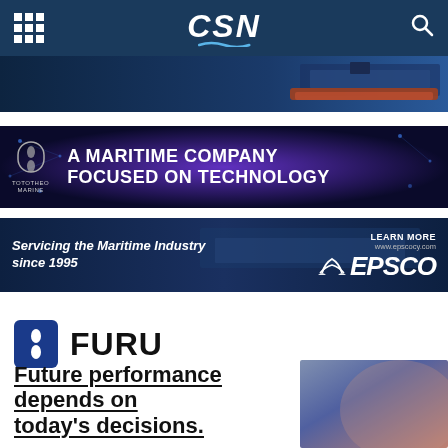CSN
[Figure (screenshot): CSN website navigation bar with grid icon, CSN logo with wave, and search icon on dark blue background]
[Figure (photo): Ship banner image with cargo vessel at sea on dark blue gradient background]
[Figure (screenshot): Tototheo Marine advertisement: A MARITIME COMPANY FOCUSED ON TECHNOLOGY on dark purple/blue background]
[Figure (screenshot): EPSCO advertisement: Servicing the Maritime Industry since 1995, LEARN MORE www.epscocy.com, EPSCO logo on dark navy background with container ship]
[Figure (logo): FURU brand logo with blue icon featuring two diamond shapes]
Future performance depends on today's decisions.